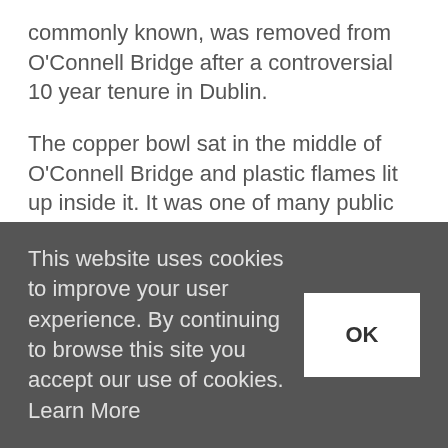commonly known, was removed from O'Connell Bridge after a controversial 10 year tenure in Dublin.
The copper bowl sat in the middle of O'Connell Bridge and plastic flames lit up inside it. It was one of many public art installations around the capital, but no piece captured the attention of the public quite like 'The Thing'.
Built in 1953 for the Tóstal (an event aimed to help encourage visitors to come to Ireland as a tourist destination) it was one of many public...
This website uses cookies to improve your user experience. By continuing to browse this site you accept our use of cookies. Learn More